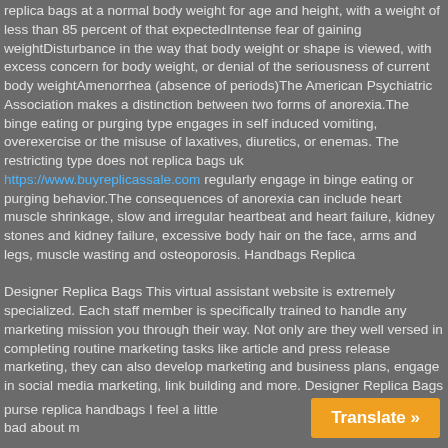replica bags at a normal body weight for age and height, with a weight of less than 85 percent of that expectedIntense fear of gaining weightDisturbance in the way that body weight or shape is viewed, with excess concern for body weight, or denial of the seriousness of current body weightAmenorrhea (absence of periods)The American Psychiatric Association makes a distinction between two forms of anorexia.The binge eating or purging type engages in self induced vomiting, overexercise or the misuse of laxatives, diuretics, or enemas. The restricting type does not replica bags uk
https://www.buyreplicassale.com regularly engage in binge eating or purging behavior.The consequences of anorexia can include heart muscle shrinkage, slow and irregular heartbeat and heart failure, kidney stones and kidney failure, excessive body hair on the face, arms and legs, muscle wasting and osteoporosis. Handbags Replica
Designer Replica Bags This virtual assistant website is extremely specialized. Each staff member is specifically trained to handle any marketing mission you through their way. Not only are they well versed in completing routine marketing tasks like article and press release marketing, they can also develop marketing and business plans, engage in social media marketing, link building and more. Designer Replica Bags
purse replica handbags I feel a little bad about m
[Figure (other): Orange 'Translate »' button in the bottom right corner]